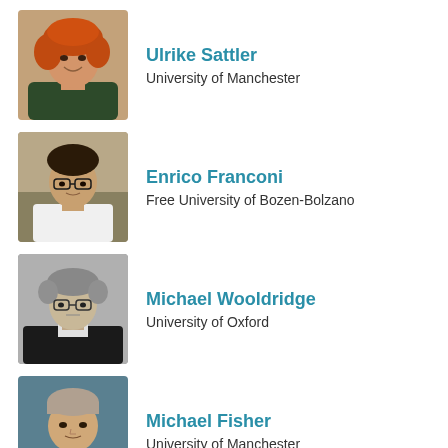[Figure (photo): Photo of Ulrike Sattler - woman with curly red-orange hair, smiling]
Ulrike Sattler
University of Manchester
[Figure (photo): Photo of Enrico Franconi - man with glasses]
Enrico Franconi
Free University of Bozen-Bolzano
[Figure (photo): Photo of Michael Wooldridge - man with glasses, black and white]
Michael Wooldridge
University of Oxford
[Figure (photo): Photo of Michael Fisher - man in suit]
Michael Fisher
University of Manchester
[Figure (photo): Placeholder silhouette icon for Brandon Bennett]
Brandon Bennett
University of Leeds
[Figure (photo): Photo of Hans Tompits - man, black and white, dark hair]
Hans Tompits
TU Wien